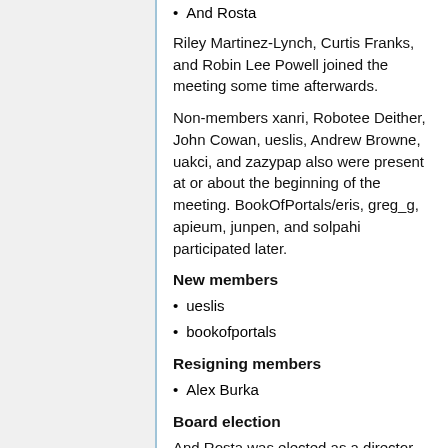And Rosta
Riley Martinez-Lynch, Curtis Franks, and Robin Lee Powell joined the meeting some time afterwards.
Non-members xanri, Robotee Deither, John Cowan, ueslis, Andrew Browne, uakci, and zazypap also were present at or about the beginning of the meeting. BookOfPortals/eris, greg_g, apieum, junpen, and solpahi participated later.
New members
ueslis
bookofportals
Resigning members
Alex Burka
Board election
And Rosta was elected as a director, and the rest of the directors were…